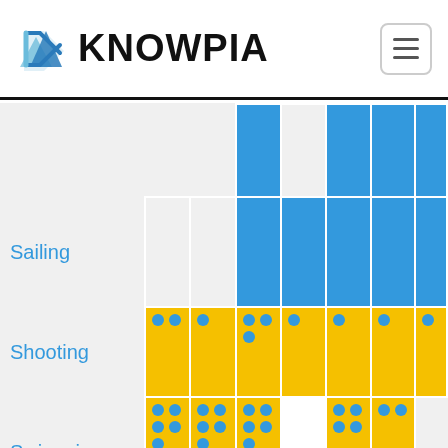[Figure (screenshot): Knowpia website header with blue geometric logo and KNOWPIA text, plus hamburger menu button]
[Figure (table-as-image): Grid table showing Olympic sports (Sailing, Shooting, Swimming) with blue and gold colored cells representing medal or participation data, with dot markers indicating counts]